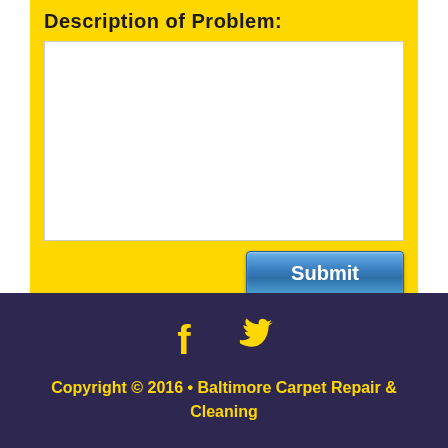Description of Problem:
[Figure (screenshot): White textarea input box for problem description]
[Figure (screenshot): Blue Submit button]
[Figure (infographic): Facebook and Twitter social media icons in yellow on dark purple footer]
Copyright © 2016 • Baltimore Carpet Repair & Cleaning